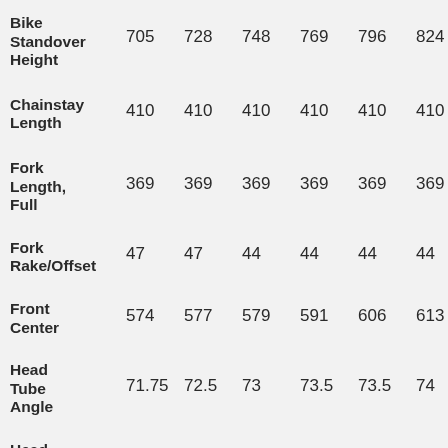|  | XS | S | M | L | XL | XXL |
| --- | --- | --- | --- | --- | --- | --- |
| Bike Standover Height | 705 | 728 | 748 | 769 | 796 | 824 |
| Chainstay Length | 410 | 410 | 410 | 410 | 410 | 410 |
| Fork Length, Full | 369 | 369 | 369 | 369 | 369 | 369 |
| Fork Rake/Offset | 47 | 47 | 44 | 44 | 44 | 44 |
| Front Center | 574 | 577 | 579 | 591 | 606 | 613 |
| Head Tube Angle | 71.75 | 72.5 | 73 | 73.5 | 73.5 | 74 |
| Head |  |  |  |  |  |  |